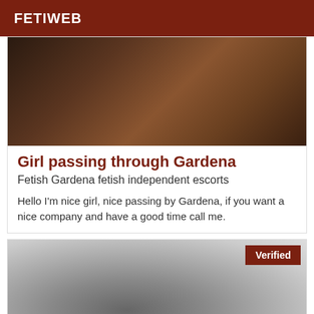FETIWEB
[Figure (photo): Photo of a woman in a dark outdoor setting]
Girl passing through Gardena
Fetish Gardena fetish independent escorts
Hello I'm nice girl, nice passing by Gardena, if you want a nice company and have a good time call me.
[Figure (photo): Black and white photo of a person's neck and shoulder area with a Verified badge]